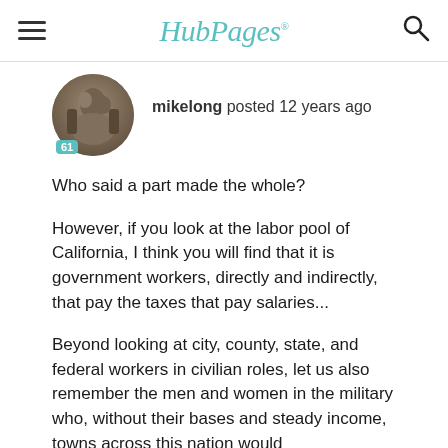HubPages
mikelong posted 12 years ago
Who said a part made the whole?
However, if you look at the labor pool of California, I think you will find that it is government workers, directly and indirectly, that pay the taxes that pay salaries...
Beyond looking at city, county, state, and federal workers in civilian roles, let us also remember the men and women in the military who, without their bases and steady income, towns across this nation would disappear...